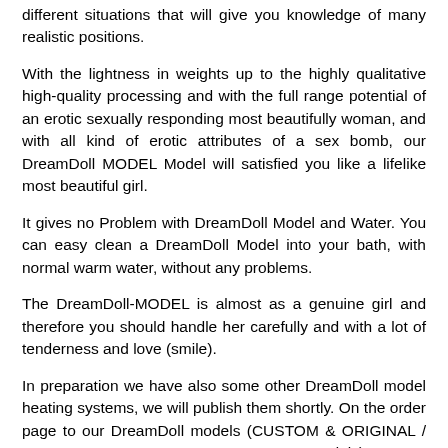different situations that will give you knowledge of many realistic positions.
With the lightness in weights up to the highly qualitative high-quality processing and with the full range potential of an erotic sexually responding most beautifully woman, and with all kind of erotic attributes of a sex bomb, our DreamDoll MODEL Model will satisfied you like a lifelike most beautiful girl.
It gives no Problem with DreamDoll Model and Water. You can easy clean a DreamDoll Model into your bath, with normal warm water, without any problems.
The DreamDoll-MODEL is almost as a genuine girl and therefore you should handle her carefully and with a lot of tenderness and love (smile).
In preparation we have also some other DreamDoll model heating systems, we will publish them shortly. On the order page to our DreamDoll models (CUSTOM & ORIGINAL / CUSTOM TORSO & TORSO ORIGINAL Models) You can find the Option "Heating Sstem" in the below of the this page. You can integrate this New Option simple in an Order process!